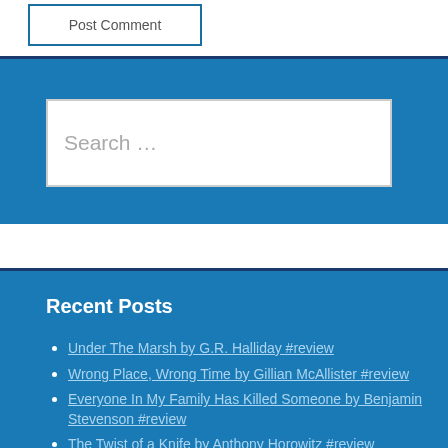Post Comment
Search …
Recent Posts
Under The Marsh by G.R. Halliday #review
Wrong Place, Wrong Time by Gillian McAllister #review
Everyone In My Family Has Killed Someone by Benjamin Stevenson #review
The Twist of a Knife by Anthony Horowitz #review